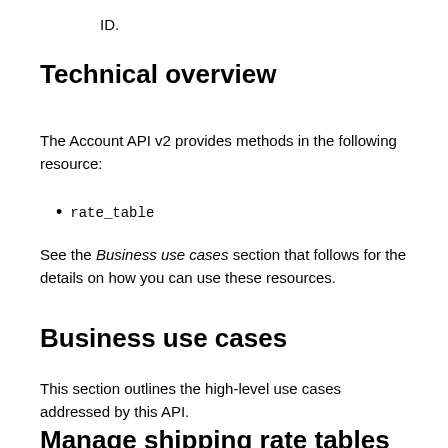ID.
Technical overview
The Account API v2 provides methods in the following resource:
rate_table
See the Business use cases section that follows for the details on how you can use these resources.
Business use cases
This section outlines the high-level use cases addressed by this API.
Manage shipping rate tables created by